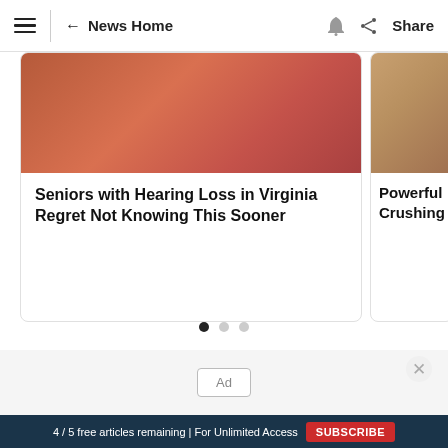News Home | Share
[Figure (screenshot): News article card showing an image with headline: Seniors with Hearing Loss in Virginia Regret Not Knowing This Sooner]
[Figure (screenshot): Partially visible news article card showing image with headline beginning: Powerful Crushing]
Ad
4 / 5 free articles remaining | For Unlimited Access SUBSCRIBE